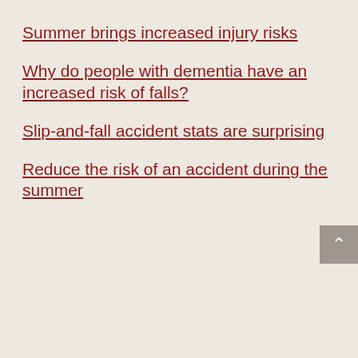Summer brings increased injury risks
Why do people with dementia have an increased risk of falls?
Slip-and-fall accident stats are surprising
Reduce the risk of an accident during the summer